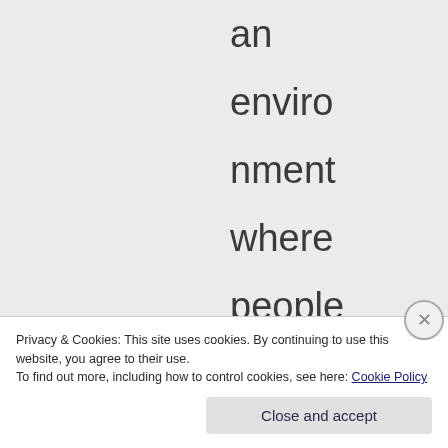an enviro nment where people can make up their own minds
Privacy & Cookies: This site uses cookies. By continuing to use this website, you agree to their use.
To find out more, including how to control cookies, see here: Cookie Policy
Close and accept